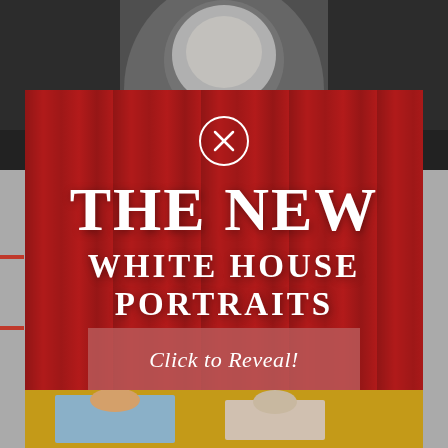[Figure (photo): A screenshot of a web page showing a modal/overlay with red curtain background. Text reads 'THE NEW WHITE HOUSE PORTRAITS' in large white serif font. A circle with X close button is at top. A pink-red button says 'Click to Reveal!' Below and above the modal, partial page content is visible — grayscale portrait photo at top, and a colorful bottom section.]
THE NEW WHITE HOUSE PORTRAITS
Click to Reveal!